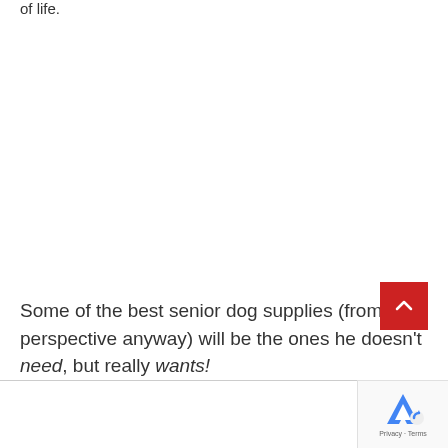of life.
Some of the best senior dog supplies (from his perspective anyway) will be the ones he doesn't need, but really wants!